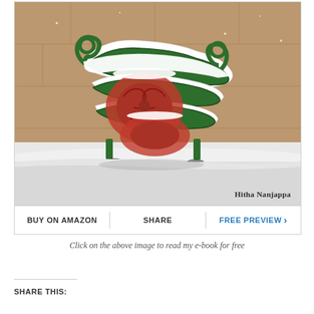[Figure (photo): A decorative iron bench or sleigh with green and red ornamental ironwork covered in snow, positioned against a stone wall background. Author credit reads 'Hitha Nanjappa' in the lower right of the photo.]
BUY ON AMAZON | SHARE | FREE PREVIEW >
Click on the above image to read my e-book for free
SHARE THIS: